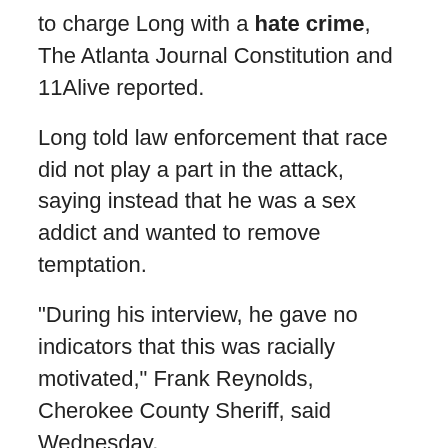to charge Long with a hate crime, The Atlanta Journal Constitution and 11Alive reported.
Long told law enforcement that race did not play a part in the attack, saying instead that he was a sex addict and wanted to remove temptation.
“During his interview, he gave no indicators that this was racially motivated,” Frank Reynolds, Cherokee County Sheriff, said Wednesday.
“We asked him that specifically and the answer was no.”
The attack on Tuesday is the latest in a series which indicates attacks on Asian Americans in the US is on the rise.
As of Thursday morning, four of the Atlanta-area victims had been identified: Xiaojie Tan, 49, Delaina Ashley